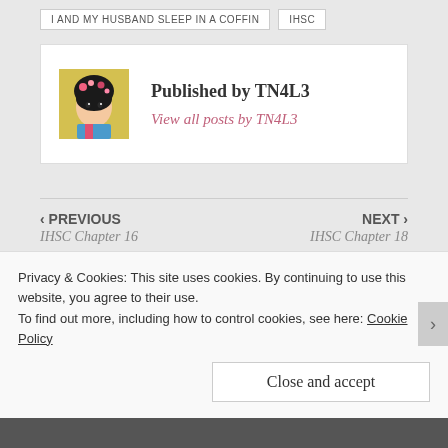I AND MY HUSBAND SLEEP IN A COFFIN
IHSC
Published by TN4L3
View all posts by TN4L3
‹ PREVIOUS
IHSC Chapter 16
NEXT ›
IHSC Chapter 18
Privacy & Cookies: This site uses cookies. By continuing to use this website, you agree to their use.
To find out more, including how to control cookies, see here: Cookie Policy
Close and accept